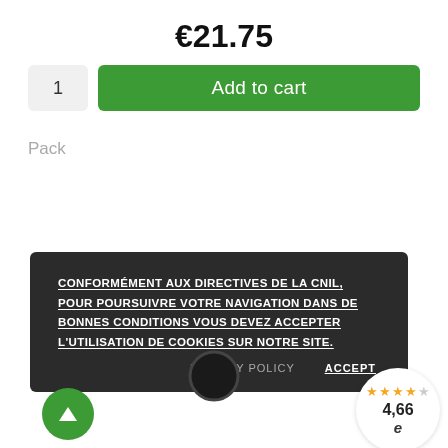€21.75
1  Add to cart
Pack
CONFORMÉMENT AUX DIRECTIVES DE LA CNIL, POUR POURSUIVRE VOTRE NAVIGATION DANS DE BONNES CONDITIONS VOUS DEVEZ ACCEPTER L'UTILISATION DE COOKIES SUR NOTRE SITE.
PRIVACY POLICY   ACCEPT
4,66